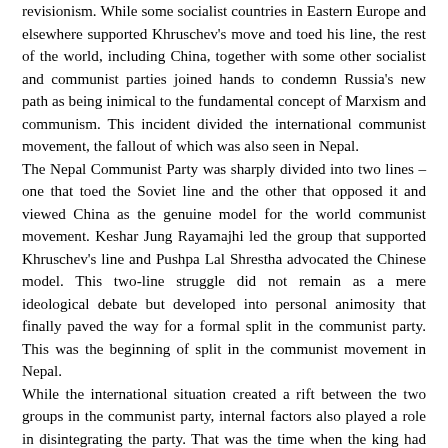revisionism. While some socialist countries in Eastern Europe and elsewhere supported Khruschev's move and toed his line, the rest of the world, including China, together with some other socialist and communist parties joined hands to condemn Russia's new path as being inimical to the fundamental concept of Marxism and communism. This incident divided the international communist movement, the fallout of which was also seen in Nepal. The Nepal Communist Party was sharply divided into two lines – one that toed the Soviet line and the other that opposed it and viewed China as the genuine model for the world communist movement. Keshar Jung Rayamajhi led the group that supported Khruschev's line and Pushpa Lal Shrestha advocated the Chinese model. This two-line struggle did not remain as a mere ideological debate but developed into personal animosity that finally paved the way for a formal split in the communist party. This was the beginning of split in the communist movement in Nepal. While the international situation created a rift between the two groups in the communist party, internal factors also played a role in disintegrating the party. That was the time when the king had just taken over power and had imposed his absolute rule. The elected government had been dissolved, the prime minister jailed and multi-party system disbanded. In such a situation, the king had adopted the policy of weakening the